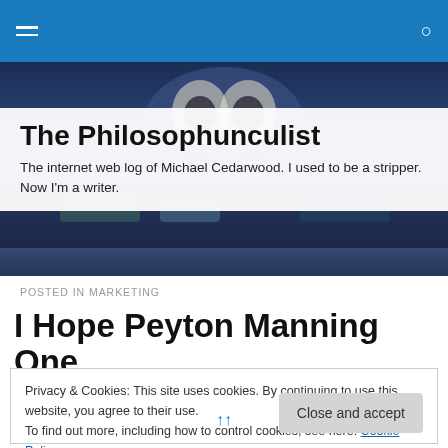Navigation bar with hamburger menu and search icon
[Figure (photo): Abstract painted background with dark blues and earth tones, partially visible owl or face-like painting]
The Philosophunculist
The internet web log of Michael Cedarwood. I used to be a stripper. Now I'm a writer.
POSTED IN MARKETING
I Hope Peyton Manning One
Privacy & Cookies: This site uses cookies. By continuing to use this website, you agree to their use.
To find out more, including how to control cookies, see here: Cookie Policy
Close and accept